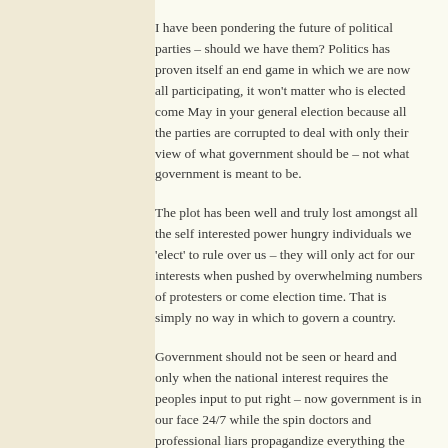I have been pondering the future of political parties – should we have them? Politics has proven itself an end game in which we are now all participating, it won't matter who is elected come May in your general election because all the parties are corrupted to deal with only their view of what government should be – not what government is meant to be.
The plot has been well and truly lost amongst all the self interested power hungry individuals we 'elect' to rule over us – they will only act for our interests when pushed by overwhelming numbers of protesters or come election time. That is simply no way in which to govern a country.
Government should not be seen or heard and only when the national interest requires the peoples input to put right – now government is in our face 24/7 while the spin doctors and professional liars propagandize everything the government does to its own ideological pursuits.